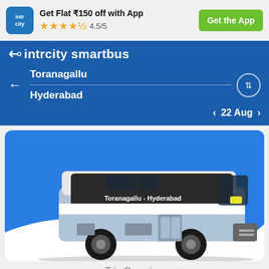[Figure (screenshot): IntrCity app promo bar with logo, stars rating 4.5/5, and Get the App button]
[Figure (screenshot): IntrCity SmartBus header with route Toranagallu to Hyderabad, date 22 Aug]
[Figure (illustration): Illustrated bus image with text Toranagallu - Hyderabad on blue background]
Trip Overview